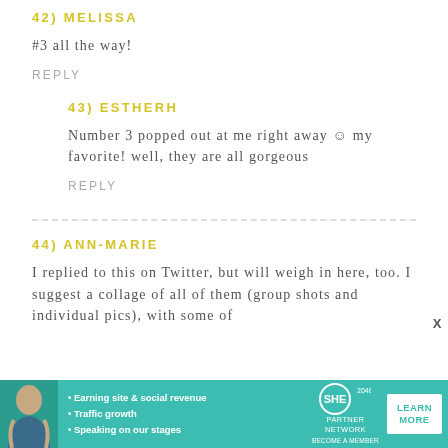42) MELISSA
#3 all the way!
REPLY
43) ESTHERH
Number 3 popped out at me right away ☺ my favorite! well, they are all gorgeous
REPLY
44) ANN-MARIE
I replied to this on Twitter, but will weigh in here, too. I suggest a collage of all of them (group shots and individual pics), with some of
[Figure (infographic): SHE Partner Network advertisement banner with teal background, woman photo, bullet points about earning site & social revenue, traffic growth, speaking on our stages, SHE logo, and Learn More button]